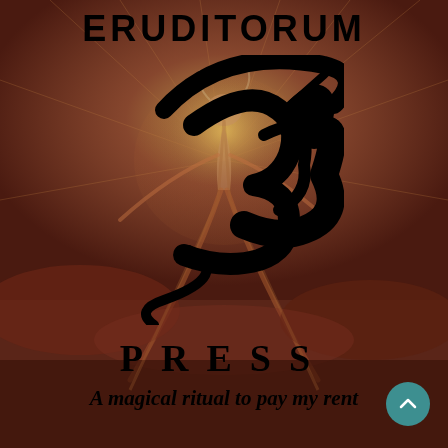[Figure (illustration): Background illustration: William Blake-style painting of a figure with compass/dividers, standing amid clouds and rays of light, in warm reddish-brown and golden tones. The figure stretches downward with a circular halo behind.]
ERUDITORUM
[Figure (logo): Eruditorum Press stylized EP logo in black calligraphic/script style]
PRESS
A magical ritual to pay my rent